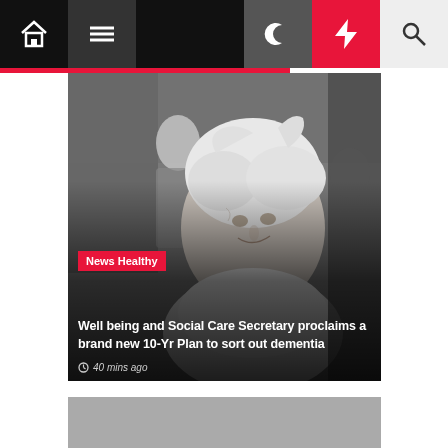Navigation bar with home, menu, moon, bolt, search icons
[Figure (photo): Elderly woman with white hair in a crowd, black and white / muted color street photo]
News Healthy
Well being and Social Care Secretary proclaims a brand new 10-Yr Plan to sort out dementia
40 mins ago